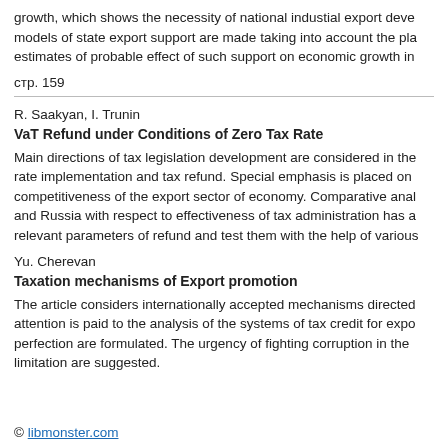growth, which shows the necessity of national industial export deve... models of state export support are made taking into account the pla... estimates of probable effect of such support on economic growth in...
стр. 159
R. Saakyan, I. Trunin
VaT Refund under Conditions of Zero Tax Rate
Main directions of tax legislation development are considered in the rate implementation and tax refund. Special emphasis is placed on competitiveness of the export sector of economy. Comparative anal and Russia with respect to effectiveness of tax administration has a relevant parameters of refund and test them with the help of various
Yu. Cherevan
Taxation mechanisms of Export promotion
The article considers internationally accepted mechanisms directed attention is paid to the analysis of the systems of tax credit for expo perfection are formulated. The urgency of fighting corruption in the limitation are suggested.
© libmonster.com